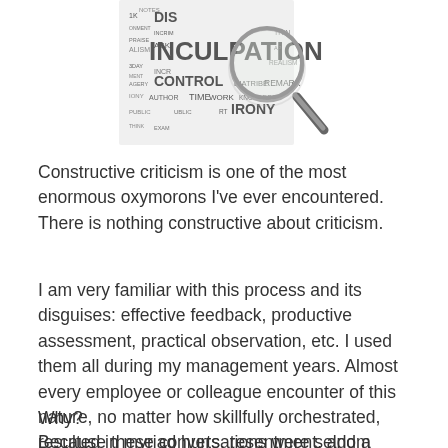[Figure (illustration): A magnifying glass over a word cloud containing terms like INCULPATION, CONTROL, TIME, WORK, IRONY, DISCRIMINATION, AUTHOR, DIATRIBE, REMARK, and other related words in varying sizes and styles.]
Constructive criticism is one of the most enormous oxymorons I've ever encountered. There is nothing constructive about criticism.
I am very familiar with this process and its disguises: effective feedback, productive assessment, practical observation, etc. I used them all during my management years. Almost every employee or colleague encounter of this nature, no matter how skillfully orchestrated, resulted in myriad hurts, resentment, and a decrease in job performance.
Why?
Because these conversations were seldom initiated with